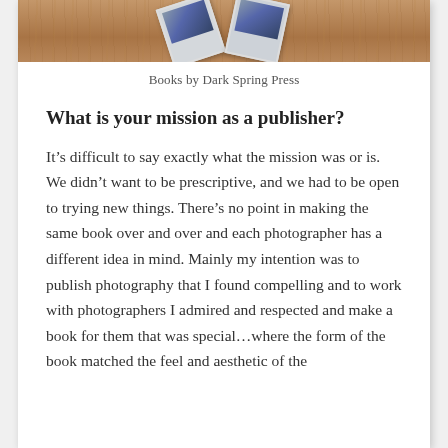[Figure (photo): Photo strip showing polaroid photographs on a wooden surface, partially visible at top of page]
Books by Dark Spring Press
What is your mission as a publisher?
It’s difficult to say exactly what the mission was or is. We didn’t want to be prescriptive, and we had to be open to trying new things. There’s no point in making the same book over and over and each photographer has a different idea in mind. Mainly my intention was to publish photography that I found compelling and to work with photographers I admired and respected and make a book for them that was special…where the form of the book matched the feel and aesthetic of the